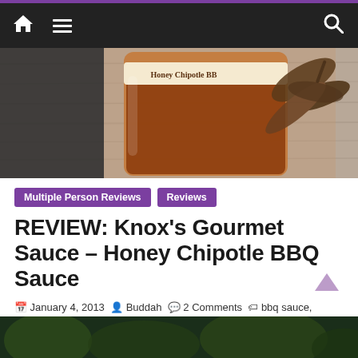Navigation bar with home, menu, and search icons
[Figure (photo): A jar of Knox's Gourmet Honey Chipotle BBQ Sauce on a wooden surface with dried chipotle peppers visible in the background]
Multiple Person Reviews
Reviews
REVIEW: Knox’s Gourmet Sauce – Honey Chipotle BBQ Sauce
January 4, 2013 • Buddah • 2 Comments • bbq sauce, chipotle, G, Honey Chipotle BBQ, Knox Gourmet Sauce, Michael Knox, Mike & Jen, Xero